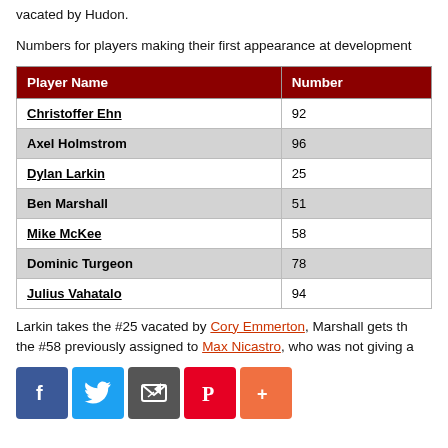vacated by Hudon.
Numbers for players making their first appearance at development
| Player Name | Number |
| --- | --- |
| Christoffer Ehn | 92 |
| Axel Holmstrom | 96 |
| Dylan Larkin | 25 |
| Ben Marshall | 51 |
| Mike McKee | 58 |
| Dominic Turgeon | 78 |
| Julius Vahatalo | 94 |
Larkin takes the #25 vacated by Cory Emmerton, Marshall gets the #58 previously assigned to Max Nicastro, who was not giving a
[Figure (infographic): Social sharing icons: Facebook, Twitter, Email, Pinterest, More]